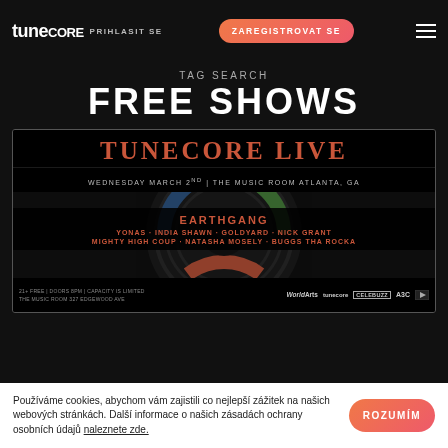TuneCORE  PRIHLASIT SE  ZAREGISTROVAT SE
TAG SEARCH
FREE SHOWS
[Figure (photo): TuneCore Live event flyer: TUNECORE LIVE, Wednesday March 2nd | The Music Room Atlanta, GA. Artists: EARTHGANG, YONAS · INDIA SHAWN · GOLDYARD · NICK GRANT, MIGHTY HIGH COUP · NATASHA MOSELY · BUGGS THA ROCKA. 21+ FREE | DOORS 8PM | CAPACITY IS LIMITED, THE MUSIC ROOM 327 EDGEWOOD AVE. Logos: WorldArts, tunecore, CELEBUZZ, A3C, and speaker icon.]
Používáme cookies, abychom vám zajistili co nejlepší zážitek na našich webových stránkách. Další informace o našich zásadách ochrany osobních údajů naleznete zde.